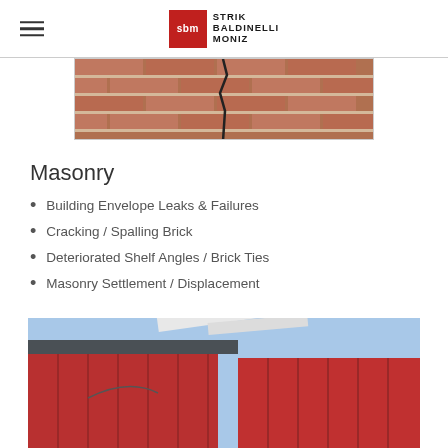STRIK BALDINELLI MONIZ
[Figure (photo): Close-up of a brick wall showing a diagonal crack running through the mortar joints]
Masonry
Building Envelope Leaks & Failures
Cracking / Spalling Brick
Deteriorated Shelf Angles / Brick Ties
Masonry Settlement / Displacement
[Figure (photo): Exterior view of a building with red metal cladding panels and a flat roof with white structural elements against a blue sky]